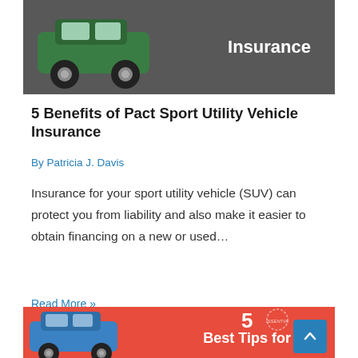[Figure (illustration): Dark grey banner image showing a green SUV car illustration with bold white text reading 'Insurance' on the right side]
5 Benefits of Pact Sport Utility Vehicle Insurance
By Patricia J. Davis
Insurance for your sport utility vehicle (SUV) can protect you from liability and also make it easier to obtain financing on a new or used…
Read More »
[Figure (illustration): Red banner image showing a blue SUV illustration with white text reading '5 Best Tips for' and a scroll-to-top blue button in the bottom right]